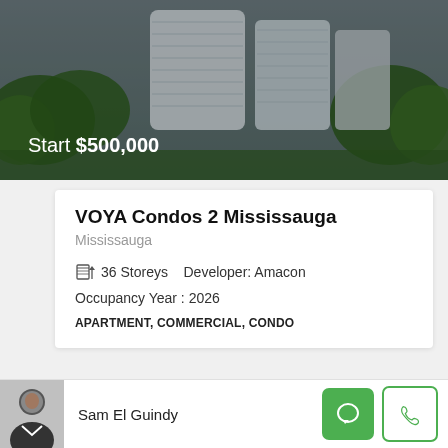[Figure (photo): Aerial/exterior photo of modern high-rise condo building with curved white facades surrounded by green trees. Price overlay text 'Start $500,000' in white.]
VOYA Condos 2 Mississauga
Mississauga
36 Storeys   Developer: Amacon
Occupancy Year : 2026
APARTMENT, COMMERCIAL, CONDO
[Figure (photo): Aerial drone photo of waterfront development area with text 'ONE COMMON VISION' overlaid on left and 'FUTURE DEVELOPMENT' badge on right]
Sam El Guindy